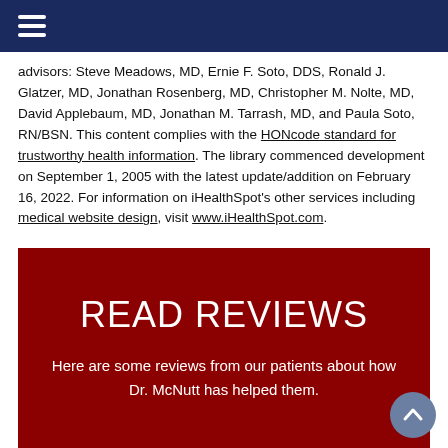≡
advisors: Steve Meadows, MD, Ernie F. Soto, DDS, Ronald J. Glatzer, MD, Jonathan Rosenberg, MD, Christopher M. Nolte, MD, David Applebaum, MD, Jonathan M. Tarrash, MD, and Paula Soto, RN/BSN. This content complies with the HONcode standard for trustworthy health information. The library commenced development on September 1, 2005 with the latest update/addition on February 16, 2022. For information on iHealthSpot's other services including medical website design, visit www.iHealthSpot.com.
READ REVIEWS
Here are some reviews from our patients about how Dr. McNutt has helped them.